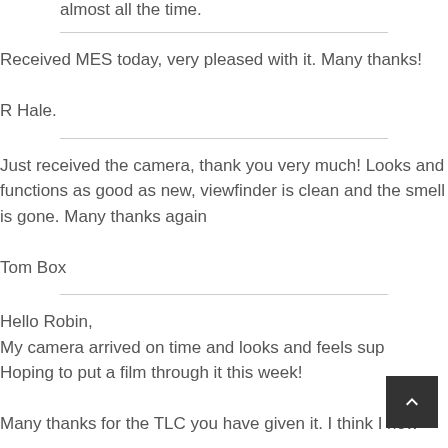almost all the time.
Received MES today, very pleased with it. Many thanks!

R Hale.
Just received the camera, thank you very much! Looks and functions as good as new, viewfinder is clean and the smell is gone. Many thanks again

Tom Box
Hello Robin,
My camera arrived on time and looks and feels sup
Hoping to put a film through it this week!

Many thanks for the TLC you have given it. I think I now